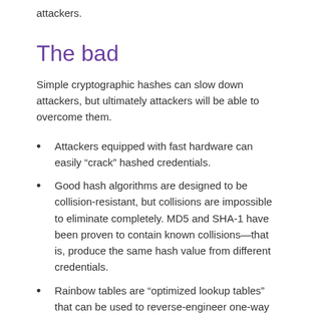attackers.
The bad
Simple cryptographic hashes can slow down attackers, but ultimately attackers will be able to overcome them.
Attackers equipped with fast hardware can easily “crack” hashed credentials.
Good hash algorithms are designed to be collision-resistant, but collisions are impossible to eliminate completely. MD5 and SHA-1 have been proven to contain known collisions—that is, produce the same hash value from different credentials.
Rainbow tables are “optimized lookup tables” that can be used to reverse-engineer one-way hash functions. A rainbow table is basically a pre-computed set of plaintext strings and their corresponding hashes